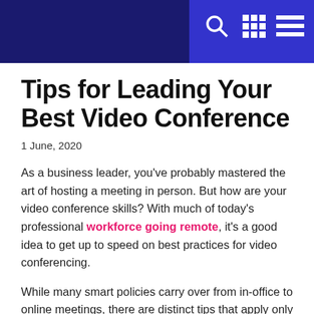[Navigation bar with search, grid, and menu icons]
Tips for Leading Your Best Video Conference
1 June, 2020
As a business leader, you've probably mastered the art of hosting a meeting in person. But how are your video conference skills? With much of today's professional workforce going remote, it's a good idea to get up to speed on best practices for video conferencing.
While many smart policies carry over from in-office to online meetings, there are distinct tips that apply only to the virtual realm.